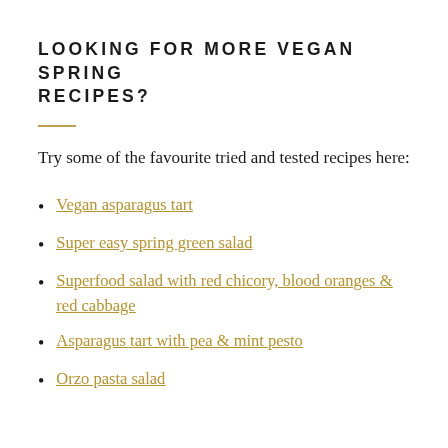LOOKING FOR MORE VEGAN SPRING RECIPES?
Try some of the favourite tried and tested recipes here:
Vegan asparagus tart
Super easy spring green salad
Superfood salad with red chicory, blood oranges & red cabbage
Asparagus tart with pea & mint pesto
Orzo pasta salad